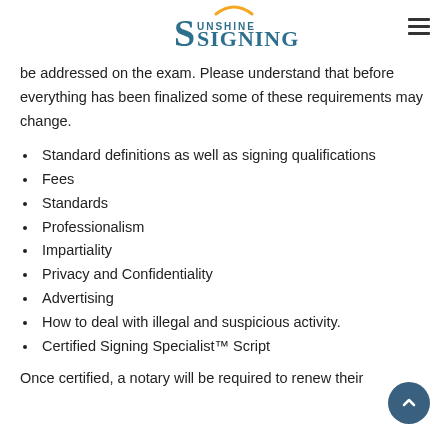Sunshine Signing [logo]
be addressed on the exam. Please understand that before everything has been finalized some of these requirements may change.
Standard definitions as well as signing qualifications
Fees
Standards
Professionalism
Impartiality
Privacy and Confidentiality
Advertising
How to deal with illegal and suspicious activity.
Certified Signing Specialist™ Script
Once certified, a notary will be required to renew their